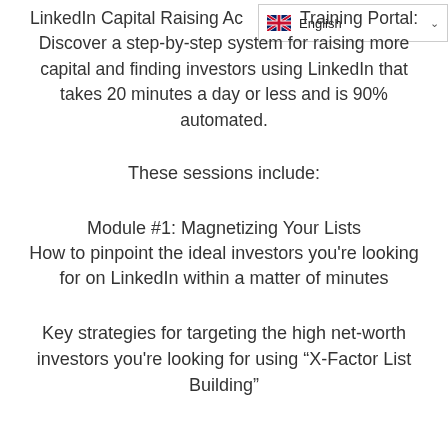[Figure (other): Language selector badge showing UK flag and 'English' with dropdown chevron]
LinkedIn Capital Raising Academy Training Portal: Discover a step-by-step system for raising more capital and finding investors using LinkedIn that takes 20 minutes a day or less and is 90% automated.
These sessions include:
Module #1: Magnetizing Your Lists
How to pinpoint the ideal investors you're looking for on LinkedIn within a matter of minutes
Key strategies for targeting the high net-worth investors you're looking for using "X-Factor List Building"